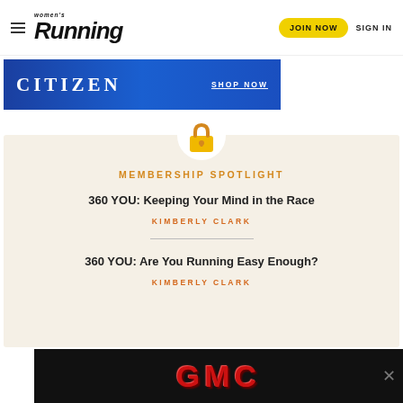Women's Running — JOIN NOW   SIGN IN
[Figure (screenshot): Citizen watch advertisement banner with blue gradient background, CITIZEN text and SHOP NOW link]
[Figure (infographic): Membership spotlight card with lock icon, showing two article listings by Kimberly Clark: '360 YOU: Keeping Your Mind in the Race' and '360 YOU: Are You Running Easy Enough?']
[Figure (screenshot): GMC advertisement banner with black background and red GMC logo text with close button]